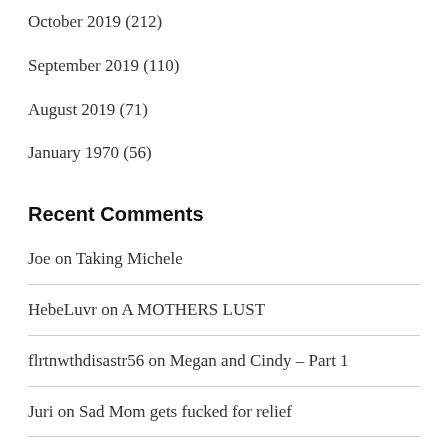October 2019 (212)
September 2019 (110)
August 2019 (71)
January 1970 (56)
Recent Comments
Joe on Taking Michele
HebeLuvr on A MOTHERS LUST
flrtnwthdisastr56 on Megan and Cindy – Part 1
Juri on Sad Mom gets fucked for relief
Joseph Randazzo on Girl That I've Always Wanted